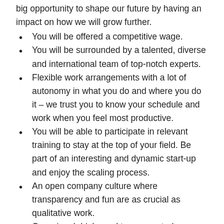big opportunity to shape our future by having an impact on how we will grow further.
You will be offered a competitive wage.
You will be surrounded by a talented, diverse and international team of top-notch experts.
Flexible work arrangements with a lot of autonomy in what you do and where you do it – we trust you to know your schedule and work when you feel most productive.
You will be able to participate in relevant training to stay at the top of your field. Be part of an interesting and dynamic start-up and enjoy the scaling process.
An open company culture where transparency and fun are as crucial as qualitative work.
Occasional drinks and team events (even during COVID times we do an effort).
Health insurance coverage.
Job requirements